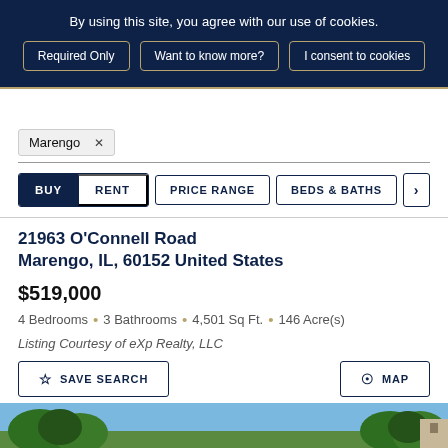By using this site, you agree with our use of cookies.
Required Only
Want to know more?
I consent to cookies
Marengo ×
BUY  RENT  PRICE RANGE  BEDS & BATHS  >
21963 O'Connell Road Marengo, IL, 60152 United States
$519,000
4 Bedrooms • 3 Bathrooms • 4,501 Sq Ft. • 146 Acre(s)
Listing Courtesy of eXp Realty, LLC
SAVE SEARCH
MAP